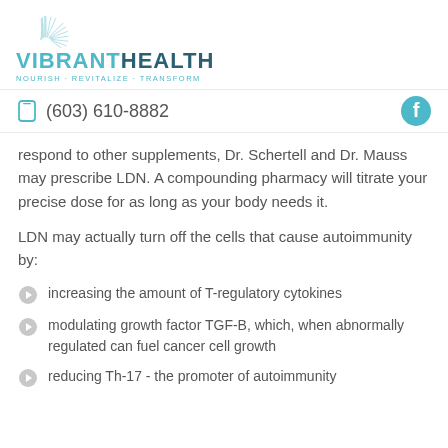VIBRANTHEALTH NOURISH · REVITALIZE · TRANSFORM
(603) 610-8882
respond to other supplements, Dr. Schertell and Dr. Mauss may prescribe LDN. A compounding pharmacy will titrate your precise dose for as long as your body needs it.
LDN may actually turn off the cells that cause autoimmunity by:
increasing the amount of T-regulatory cytokines
modulating growth factor TGF-B, which, when abnormally regulated can fuel cancer cell growth
reducing Th-17 - the promoter of autoimmunity